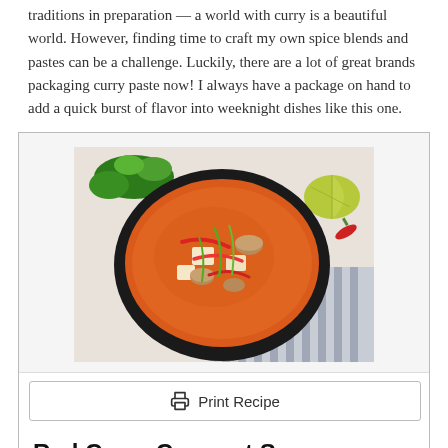traditions in preparation — a world with curry is a beautiful world. However, finding time to craft my own spice blends and pastes can be a challenge. Luckily, there are a lot of great brands packaging curry paste now! I always have a package on hand to add a quick burst of flavor into weeknight dishes like this one.
[Figure (photo): A black bowl filled with red curry coconut soup topped with tofu, mushrooms, red peppers, and green herbs, placed on a striped cloth with lime and chili garnishes nearby.]
Print Recipe
Red Curry Coconut Soup
This version of red curry coconut soup is loaded with veggies, tofu, and brown rice noodles. The broth is packed with the soothing flavor of coconut milk and a kick of heat from tiny red